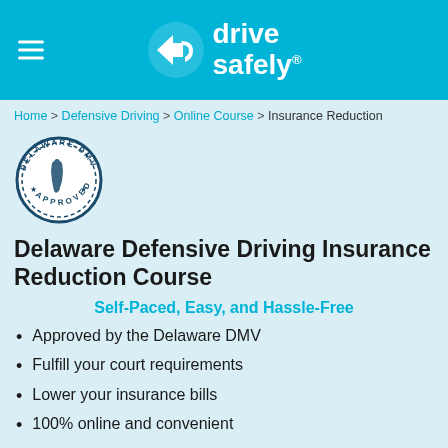drive safely®
Home > Defensive Driving > Online Course > Insurance Reduction
[Figure (logo): Delaware DMV Approved circular seal/stamp logo]
Delaware Defensive Driving Insurance Reduction Course
Self-Paced, Easy, and Hassle-Free
Approved by the Delaware DMV
Fulfill your court requirements
Lower your insurance bills
100% online and convenient